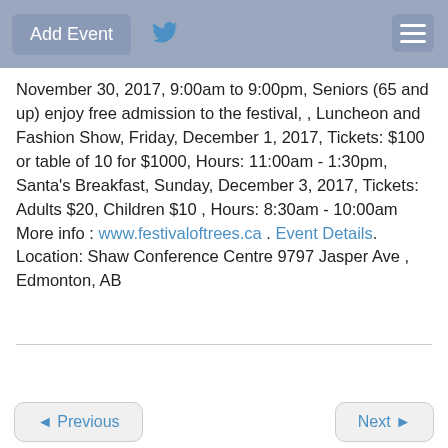Add Event
November 30, 2017, 9:00am to 9:00pm, Seniors (65 and up) enjoy free admission to the festival, , Luncheon and Fashion Show, Friday, December 1, 2017, Tickets: $100 or table of 10 for $1000, Hours: 11:00am - 1:30pm, Santa’s Breakfast, Sunday, December 3, 2017, Tickets: Adults $20, Children $10 , Hours: 8:30am - 10:00am More info : www.festivaloftrees.ca . Event Details. Location: Shaw Conference Centre 9797 Jasper Ave , Edmonton, AB
◄ Previous    Next ►